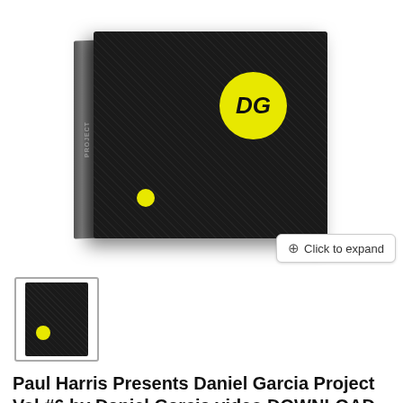[Figure (photo): Product photo of a black DVD/video box set with a yellow DG logo circle on the front cover. The box has a textured dark pattern and is shown at an angle with a spine visible on the left side. A 'Click to expand' button is visible in the lower right of the image.]
[Figure (photo): Thumbnail image of the same black box set product showing the front cover with a small yellow circle logo at the bottom.]
Paul Harris Presents Daniel Garcia Project Vol #6 by Daniel Garcia video DOWNLOAD